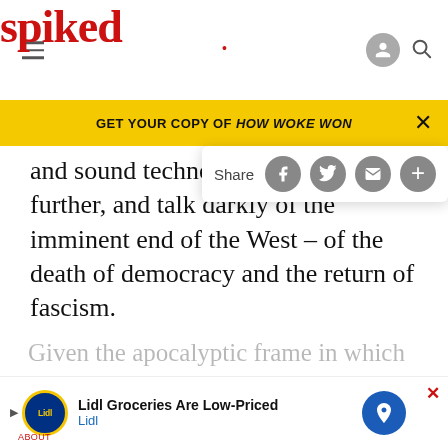spiked
GET YOUR COPY OF HOW WOKE WON
and sound technocratic governance further, and talk darkly of the imminent end of the West – of the death of democracy and the return of fascism.
[Figure (other): Grey advertisement placeholder box]
Given the apocalyptic frame in which they see his presidency
[Figure (other): Lidl Groceries Are Low-Priced advertisement banner with Lidl logo and route icon]